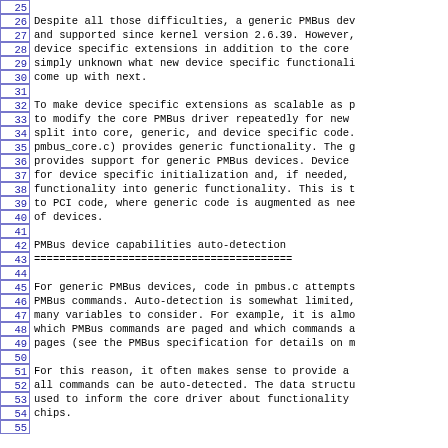25 (blank)
26 Despite all those difficulties, a generic PMBus dev
27 and supported since kernel version 2.6.39. However,
28 device specific extensions in addition to the core
29 simply unknown what new device specific functionali
30 come up with next.
31 (blank)
32 To make device specific extensions as scalable as p
33 to modify the core PMBus driver repeatedly for new
34 split into core, generic, and device specific code.
35 pmbus_core.c) provides generic functionality. The g
36 provides support for generic PMBus devices. Device
37 for device specific initialization and, if needed,
38 functionality into generic functionality. This is t
39 to PCI code, where generic code is augmented as nee
40 of devices.
41 (blank)
42 PMBus device capabilities auto-detection
43 =========================================
44 (blank)
45 For generic PMBus devices, code in pmbus.c attempts
46 PMBus commands. Auto-detection is somewhat limited,
47 many variables to consider. For example, it is almo
48 which PMBus commands are paged and which commands a
49 pages (see the PMBus specification for details on m
50 (blank)
51 For this reason, it often makes sense to provide a
52 all commands can be auto-detected. The data structu
53 used to inform the core driver about functionality
54 chips.
55 (blank)